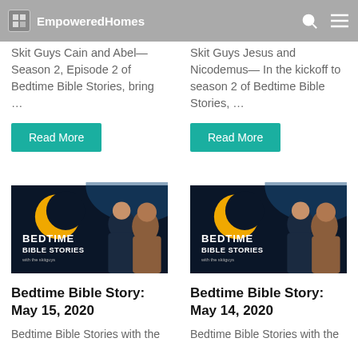EmpoweredHomes
Skit Guys Cain and Abel — Season 2, Episode 2 of Bedtime Bible Stories, bring …
Read More
Skit Guys Jesus and Nicodemus — In the kickoff to season 2 of Bedtime Bible Stories, …
Read More
[Figure (photo): Bedtime Bible Stories with the Skit Guys thumbnail showing two men and a crescent moon logo]
Bedtime Bible Story: May 15, 2020
Bedtime Bible Stories with the
[Figure (photo): Bedtime Bible Stories with the Skit Guys thumbnail showing two men and a crescent moon logo]
Bedtime Bible Story: May 14, 2020
Bedtime Bible Stories with the